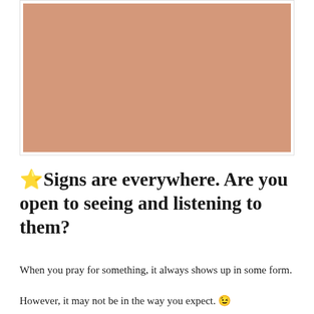[Figure (illustration): A large tan/sandy beige colored rectangle placeholder image, bordered with a light grey frame.]
⭐Signs are everywhere. Are you open to seeing and listening to them?
When you pray for something, it always shows up in some form.
However, it may not be in the way you expect. 😉